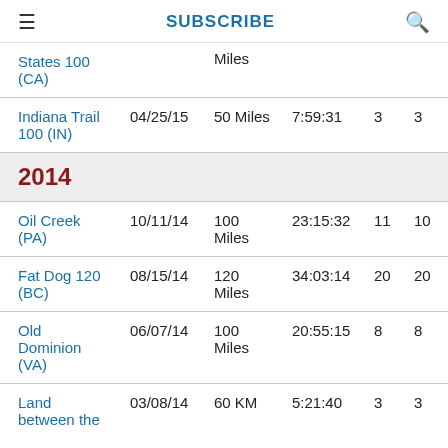SUBSCRIBE
| Race | Date | Distance | Time |  |  |
| --- | --- | --- | --- | --- | --- |
| States 100 (CA) |  | Miles |  |  |  |
| Indiana Trail 100 (IN) | 04/25/15 | 50 Miles | 7:59:31 | 3 | 3 |
| 2014 |  |  |  |  |  |
| Oil Creek (PA) | 10/11/14 | 100 Miles | 23:15:32 | 11 | 10 |
| Fat Dog 120 (BC) | 08/15/14 | 120 Miles | 34:03:14 | 20 | 20 |
| Old Dominion (VA) | 06/07/14 | 100 Miles | 20:55:15 | 8 | 8 |
| Land between the | 03/08/14 | 60 KM | 5:21:40 | 3 | 3 |